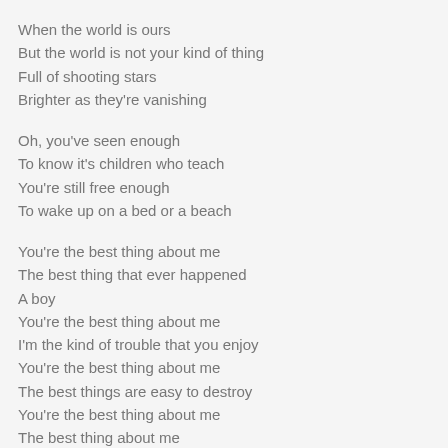When the world is ours
But the world is not your kind of thing
Full of shooting stars
Brighter as they're vanishing
Oh, you've seen enough
To know it's children who teach
You're still free enough
To wake up on a bed or a beach
You're the best thing about me
The best thing that ever happened
A boy
You're the best thing about me
I'm the kind of trouble that you enjoy
You're the best thing about me
The best things are easy to destroy
You're the best thing about me
The best thing about me
I been crying out